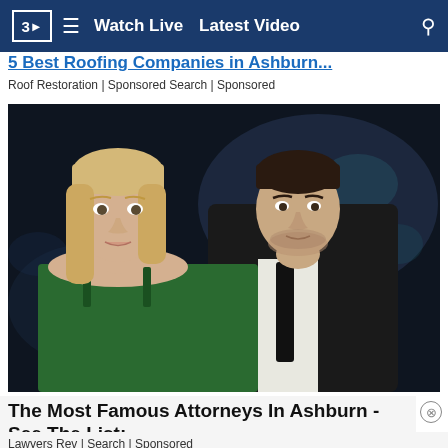3D | Watch Live | Latest Video
5 Best Roofing Companies in Ashburn
Roof Restoration | Sponsored Search | Sponsored
[Figure (photo): A blonde woman in a green dress and a dark-haired man in a black suit and tie posing together against a dark background]
The Most Famous Attorneys In Ashburn - See The List:
Lawyers Rev | Search | Sponsored